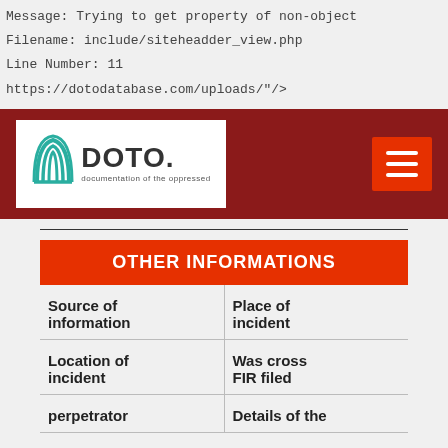Message: Trying to get property of non-object
Filename: include/siteheadder_view.php
Line Number: 11
https://dotodatabase.com/uploads/"/>
[Figure (logo): DOTO. documentation of the oppressed logo in white box on dark red header bar with hamburger menu button]
OTHER INFORMATIONS
| Source of information | Place of incident |
| Location of incident | Was cross FIR filed |
| perpetrator | Details of the |